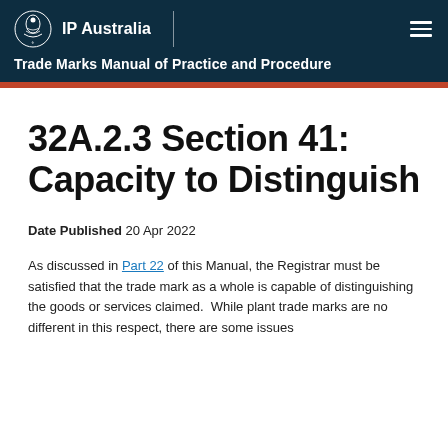IP Australia — Trade Marks Manual of Practice and Procedure
32A.2.3 Section 41: Capacity to Distinguish
Date Published 20 Apr 2022
As discussed in Part 22 of this Manual, the Registrar must be satisfied that the trade mark as a whole is capable of distinguishing the goods or services claimed.  While plant trade marks are no different in this respect, there are some issues